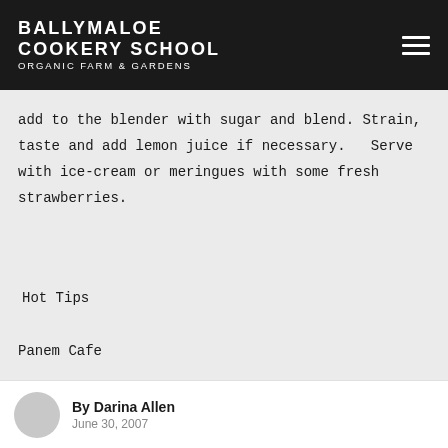BALLYMALOE COOKERY SCHOOL ORGANIC FARM & GARDENS
add to the blender with sugar and blend. Strain, taste and add lemon juice if necessary.   Serve with ice-cream or meringues with some fresh strawberries.
Hot Tips
Panem Cafe
Another little gem in Dublin. Panem
By Darina Allen
June 30, 2007